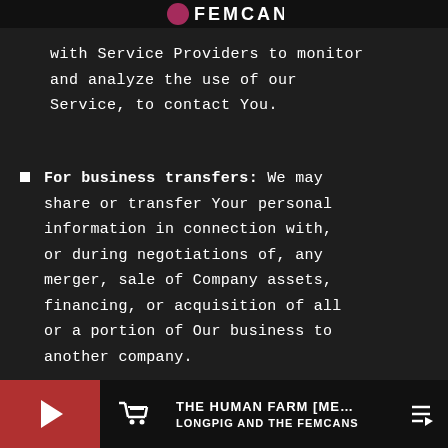FEMCANS
with Service Providers to monitor and analyze the use of our Service, to contact You.
For business transfers: We may share or transfer Your personal information in connection with, or during negotiations of, any merger, sale of Company assets, financing, or acquisition of all or a portion of Our business to another company.
THE HUMAN FARM [ME... LONGPIG AND THE FEMCANS